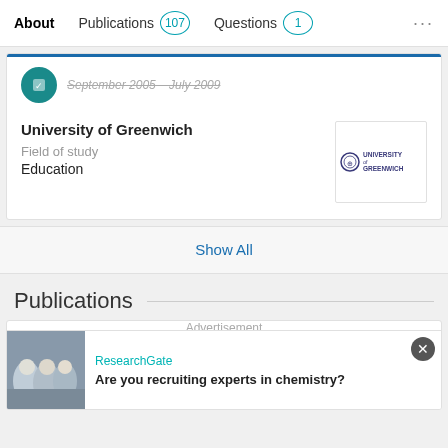About   Publications 107   Questions 1   ...
September 2005 – July 2009
University of Greenwich
Field of study
Education
[Figure (logo): University of Greenwich logo]
Show All
Publications
Advertisement
Publications (107)
ResearchGate
Are you recruiting experts in chemistry?